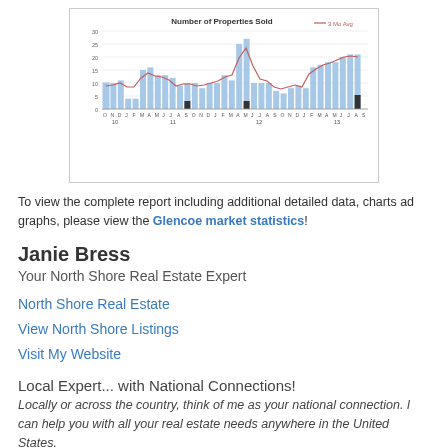[Figure (bar-chart): Bar chart showing number of properties sold monthly from Oct 2010 through Sep 2013, with a 3-Mo Avg line overlay. Values range from approximately 2 to 27.]
To view the complete report including additional detailed data, charts ad graphs, please view the Glencoe market statistics!
Janie Bress
Your North Shore Real Estate Expert
North Shore Real Estate
View North Shore Listings
Visit My Website
Local Expert... with National Connections!
Locally or across the country, think of me as your national connection. I can help you with all your real estate needs anywhere in the United States.